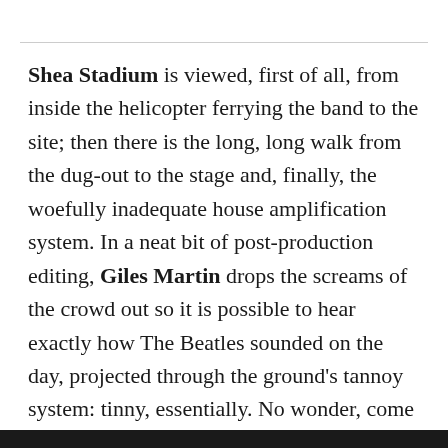Shea Stadium is viewed, first of all, from inside the helicopter ferrying the band to the site; then there is the long, long walk from the dug-out to the stage and, finally, the woefully inadequate house amplification system. In a neat bit of post-production editing, Giles Martin drops the screams of the crowd out so it is possible to hear exactly how The Beatles sounded on the day, projected through the ground's tannoy system: tinny, essentially. No wonder, come 1966, the band are ready to quit life on the road in favour of the comparatively stable environs of Abbey Road Studio Two.